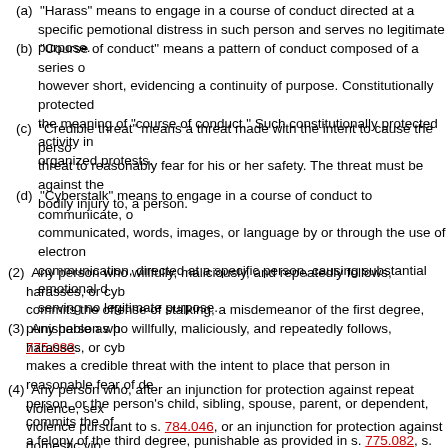(a) "Harass" means to engage in a course of conduct directed at a specific person that causes substantial emotional distress in such person and serves no legitimate purpose.
(b) "Course of conduct" means a pattern of conduct composed of a series of acts over a period of time, however short, evidencing a continuity of purpose. Constitutionally protected activity is not included within the meaning of "course of conduct." Such constitutionally protected activity includes picketing or other organized protests.
(c) "Credible threat" means a threat made with the intent to cause the person who is the target of the threat to reasonably fear for his or her safety. The threat must be against the life of, or a threat to cause bodily injury to, a person.
(d) "Cyberstalk" means to engage in a course of conduct to communicate, or to cause to be communicated, words, images, or language by or through the use of electronic mail or electronic communication, directed at a specific person, causing substantial emotional distress to that person and serving no legitimate purpose.
(2) Any person who willfully, maliciously, and repeatedly follows, harasses, or cyberstalks another person commits the offense of stalking, a misdemeanor of the first degree, punishable as provided in s. 775.082 or s. 775.083.
(3) Any person who willfully, maliciously, and repeatedly follows, harasses, or cyberstalks another person makes a credible threat with the intent to place that person in reasonable fear of death or bodily injury of the person, or the person's child, sibling, spouse, parent, or dependent, commits the offense of aggravated stalking, a felony of the third degree, punishable as provided in s. 775.082, s. 775.083, or s. 775.084.
(4) Any person who, after an injunction for protection against repeat violence, sexual violence, or dating violence pursuant to s. 784.046, or an injunction for protection against domestic violence pursuant to s. 741.30, or after any other court-imposed prohibition of conduct toward the subject person or that person's property, knowingly, willfully, maliciously, and repeatedly follows, harasses, or cyberstalks another person commits the offense of aggravated stalking, a felony of the third degree, punishable as provided in s.